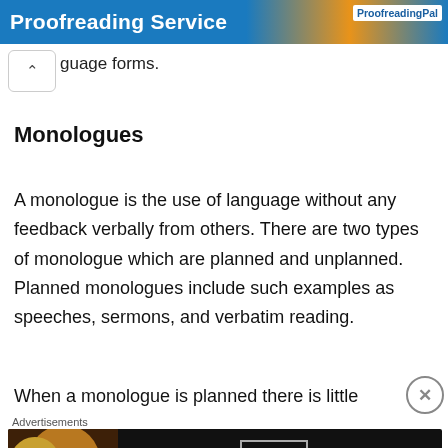Proofreading Service — ProofreadingPal
guage forms.
Monologues
A monologue is the use of language without any feedback verbally from others. There are two types of monologue which are planned and unplanned. Planned monologues include such examples as speeches, sermons, and verbatim reading.
When a monologue is planned there is little
[Figure (screenshot): Seamless food delivery advertisement banner with pizza image, seamless logo in red, and ORDER NOW button]
Advertisements